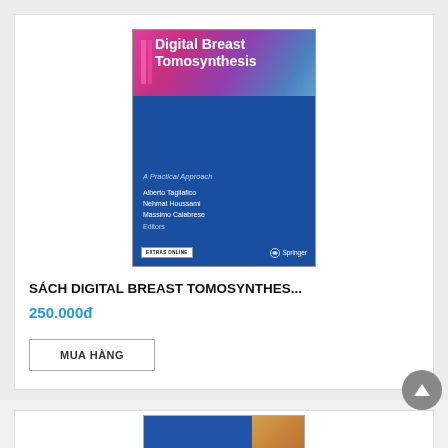[Figure (photo): Book cover of Digital Breast Tomosynthesis: A Practical Approach, Springer, Editors Alberto Tagliafico, Nehmat Houssami, Massimo Calabrese]
SÁCH DIGITAL BREAST TOMOSYNTHES...
250.000đ
MUA HÀNG
[Figure (photo): Partial view of another book cover with blue background and a textured brown/orange image patch]